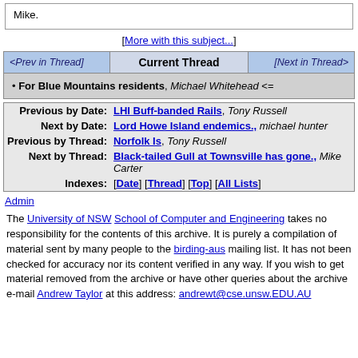Mike.
[More with this subject...]
| <Prev in Thread> | Current Thread | [Next in Thread> |
| --- | --- | --- |
| For Blue Mountains residents, Michael Whitehead <= |
| Previous by Date: | LHI Buff-banded Rails, Tony Russell |
| Next by Date: | Lord Howe Island endemics., michael hunter |
| Previous by Thread: | Norfolk Is, Tony Russell |
| Next by Thread: | Black-tailed Gull at Townsville has gone., Mike Carter |
| Indexes: | [Date] [Thread] [Top] [All Lists] |
Admin
The University of NSW School of Computer and Engineering takes no responsibility for the contents of this archive. It is purely a compilation of material sent by many people to the birding-aus mailing list. It has not been checked for accuracy nor its content verified in any way. If you wish to get material removed from the archive or have other queries about the archive e-mail Andrew Taylor at this address: andrewt@cse.unsw.EDU.AU